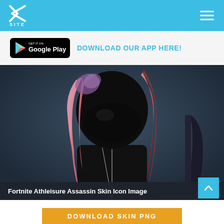XSITE
GET IT ON Google Play   DOWNLOAD OUR APP HERE!
[Figure (photo): Fortnite Athleisure Assassin Skin character — a female game character wearing a black mask and black athletic outfit with pink-to-red ombre hair, holding a weapon, set against a dark blue-grey background.]
Fortnite Athleisure Assassin Skin Icon Image
DOWNLOAD SKIN PNG